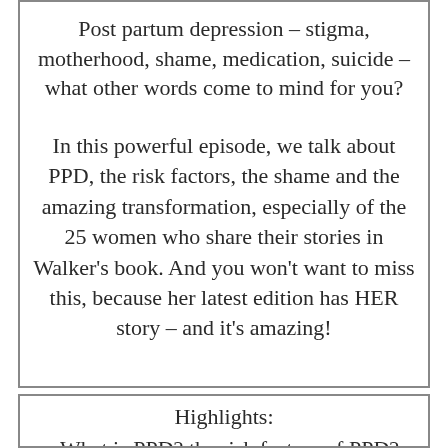Post partum depression – stigma, motherhood, shame, medication, suicide – what other words come to mind for you?
In this powerful episode, we talk about PPD, the risk factors, the shame and the amazing transformation, especially of the 25 women who share their stories in Walker's book. And you won't want to miss this, because her latest edition has HER story – and it's amazing!
Highlights:
–What is PPD? the risk factors of PPD?
–Why it being untreated is the scary part, not the PPD itself!